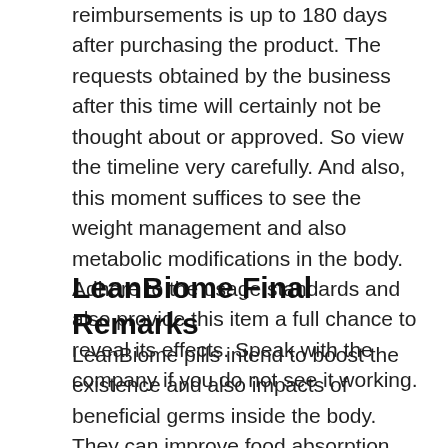reimbursements is up to 180 days after purchasing the product. The requests obtained by the business after this time will certainly not be thought about or approved. So view the timeline very carefully. And also, this moment suffices to see the weight management and also metabolic modifications in the body. Adhere to the usage standards and also provide this item a full chance to reveal its effects. Speak with the company if you do not see it working.
LeanBiome Final Remarks
LeanBiome pills intend to boost the existence and also impacts of beneficial germs inside the body. They can improve food absorption, digestion, as well as metabolic processes without any fat...